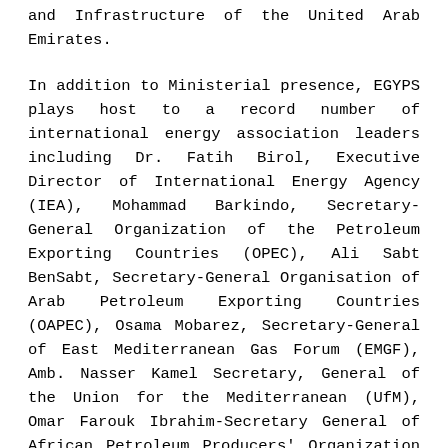and Infrastructure of the United Arab Emirates.
In addition to Ministerial presence, EGYPS plays host to a record number of international energy association leaders including Dr. Fatih Birol, Executive Director of International Energy Agency (IEA), Mohammad Barkindo, Secretary-General Organization of the Petroleum Exporting Countries (OPEC), Ali Sabt BenSabt, Secretary-General Organisation of Arab Petroleum Exporting Countries (OAPEC), Osama Mobarez, Secretary-General of East Mediterranean Gas Forum (EMGF), Amb. Nasser Kamel Secretary, General of the Union for the Mediterranean (UfM), Omar Farouk Ibrahim-Secretary General of African Petroleum Producers' Organization (APPO), Joseph McMonigle, Secretary-General of the International